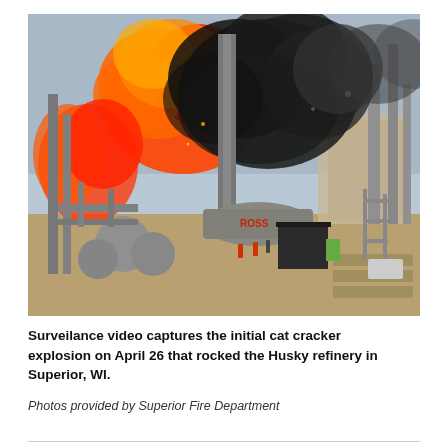[Figure (photo): Surveillance video still image showing a large explosion and fire at the Husky refinery in Superior, WI on April 26. Massive orange and red flames and thick black smoke billow above industrial refinery equipment including towers, pipes, and tanks. Workers are visible fleeing in the foreground near ground level.]
Surveilance video captures the initial cat cracker explosion on April 26 that rocked the Husky refinery in Superior, WI.
Photos provided by Superior Fire Department